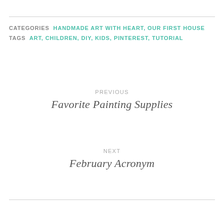CATEGORIES  HANDMADE ART WITH HEART, OUR FIRST HOUSE
TAGS  ART, CHILDREN, DIY, KIDS, PINTEREST, TUTORIAL
PREVIOUS
Favorite Painting Supplies
NEXT
February Acronym